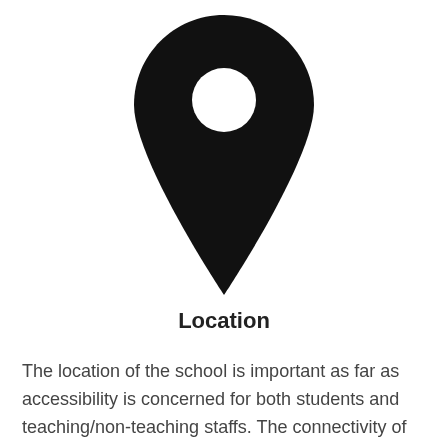[Figure (illustration): A map location pin icon in solid black, with a circular hole near the top center of the pin head.]
Location
The location of the school is important as far as accessibility is concerned for both students and teaching/non-teaching staffs. The connectivity of the school with the railway station, tube train, local transport etc will be considered and whether the school has motorable road or not. The provision of